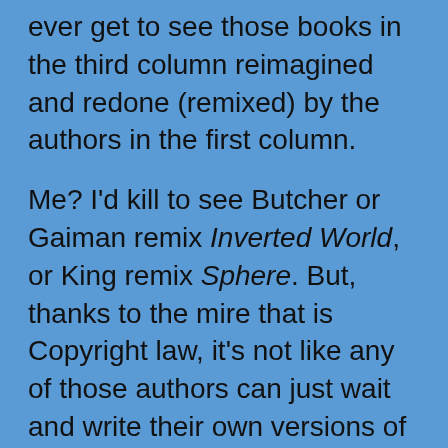ever get to see those books in the third column reimagined and redone (remixed) by the authors in the first column.
Me? I'd kill to see Butcher or Gaiman remix Inverted World, or King remix Sphere. But, thanks to the mire that is Copyright law, it's not like any of those authors can just wait and write their own versions of those works in a few years. Nor is it likely that the original authors of those works would be all that willing to agree to such remixes—what incentives would they have?
Now when it comes to a more allowing format...